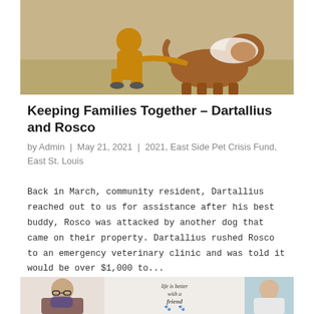[Figure (photo): Person in yellow/mustard outfit crouching next to a brown pit bull dog wearing a white cone (e-collar), outdoors on dry grass.]
Keeping Families Together – Dartallius and Rosco
by Admin | May 21, 2021 | 2021, East Side Pet Crisis Fund, East St. Louis
Back in March, community resident, Dartallius reached out to us for assistance after his best buddy, Rosco was attacked by another dog that came on their property. Dartallius rushed Rosco to an emergency veterinary clinic and was told it would be over $1,000 to...
[Figure (photo): Collage of indoor photos showing people and a sign reading 'life is better with a friend' with paw prints.]